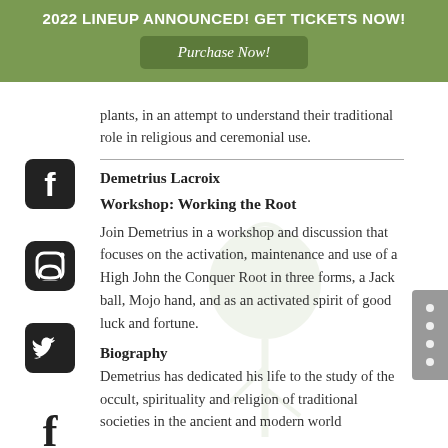2022 LINEUP ANNOUNCED! GET TICKETS NOW!
Purchase Now!
plants, in an attempt to understand their traditional role in religious and ceremonial use.
Demetrius Lacroix
Workshop: Working the Root
Join Demetrius in a workshop and discussion that focuses on the activation, maintenance and use of a High John the Conquer Root in three forms, a Jack ball, Mojo hand, and as an activated spirit of good luck and fortune.
Biography
Demetrius has dedicated his life to the study of the occult, spirituality and religion of traditional societies in the ancient and modern world